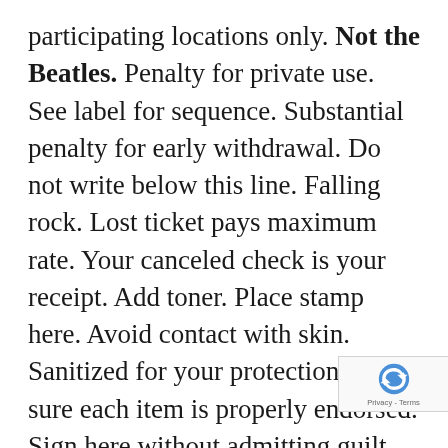participating locations only. Not the Beatles. Penalty for private use. See label for sequence. Substantial penalty for early withdrawal. Do not write below this line. Falling rock. Lost ticket pays maximum rate. Your canceled check is your receipt. Add toner. Place stamp here. Avoid contact with skin. Sanitized for your protection. Be sure each item is properly endorsed. Sign here without admitting guilt. Slightly higher west of the Mississippi. Employees and their families are not eligible. Beware of dog. Contestants have been briefed on some questions before the show. Limited time offer, call now to insure prompt delivery. You must be present to win. No passes accepted for this engagement. No purchase necessary. Processed at location.
[Figure (other): reCAPTCHA badge overlay showing recaptcha icon and Privacy - Terms text]